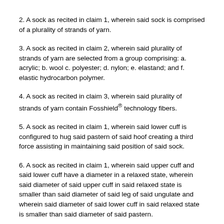2. A sock as recited in claim 1, wherein said sock is comprised of a plurality of strands of yarn.
3. A sock as recited in claim 2, wherein said plurality of strands of yarn are selected from a group comprising: a. acrylic; b. wool c. polyester; d. nylon; e. elastand; and f. elastic hydrocarbon polymer.
4. A sock as recited in claim 3, wherein said plurality of strands of yarn contain Fosshield® technology fibers.
5. A sock as recited in claim 1, wherein said lower cuff is configured to hug said pastern of said hoof creating a third force assisting in maintaining said position of said sock.
6. A sock as recited in claim 1, wherein said upper cuff and said lower cuff have a diameter in a relaxed state, wherein said diameter of said upper cuff in said relaxed state is smaller than said diameter of said leg of said ungulate and wherein said diameter of said lower cuff in said relaxed state is smaller than said diameter of said pastern.
7. A sock as recited in claim 1, wherein said sock further comprises a foot, wherein said foot is attached to said lower cuff and covers a portion of said